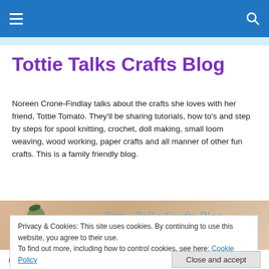Tottie Talks Crafts Blog — navigation bar
Tottie Talks Crafts Blog
Noreen Crone-Findlay talks about the crafts she loves with her friend, Tottie Tomato. They'll be sharing tutorials, how to's and step by steps for spool knitting, crochet, doll making, small loom weaving, wood working, paper crafts and all manner of other fun crafts. This is a family friendly blog.
[Figure (photo): Banner image showing craft figurines with text 'Tottie Talks Crafts Blog' in teal italic font on a peachy background]
Privacy & Cookies: This site uses cookies. By continuing to use this website, you agree to their use.
To find out more, including how to control cookies, see here: Cookie Policy
Circles everywhere